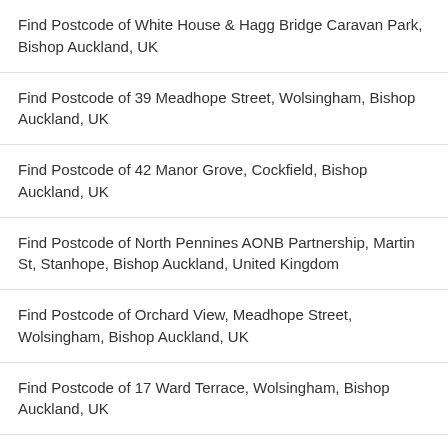Find Postcode of White House & Hagg Bridge Caravan Park, Bishop Auckland, UK
Find Postcode of 39 Meadhope Street, Wolsingham, Bishop Auckland, UK
Find Postcode of 42 Manor Grove, Cockfield, Bishop Auckland, UK
Find Postcode of North Pennines AONB Partnership, Martin St, Stanhope, Bishop Auckland, United Kingdom
Find Postcode of Orchard View, Meadhope Street, Wolsingham, Bishop Auckland, UK
Find Postcode of 17 Ward Terrace, Wolsingham, Bishop Auckland, UK
Find Postcode of Broadwood Lodge, Frosterley, Bishop Auckland, UK
[Figure (screenshot): BitLife mobile game advertisement banner with colorful emojis (devil, woman, angel face, sperm) on orange-red gradient background with BitLife logo in yellow and 'REAL CHOICES' text in black bar, with close and help buttons]